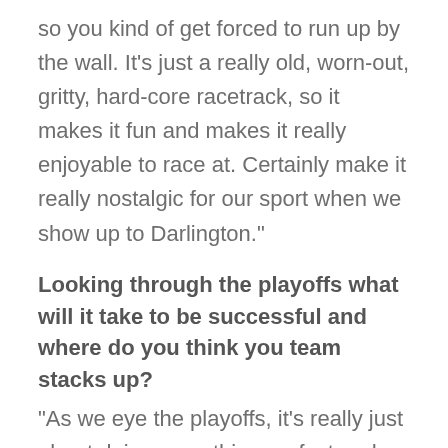so you kind of get forced to run up by the wall. It's just a really old, worn-out, gritty, hard-core racetrack, so it makes it fun and makes it really enjoyable to race at. Certainly make it really nostalgic for our sport when we show up to Darlington."
Looking through the playoffs what will it take to be successful and where do you think you team stacks up?
“As we eye the playoffs, it’s really just about doing everything perfect and maximizing the day that you have. All of those things add up to results and that’s what we really focus on as we dive into